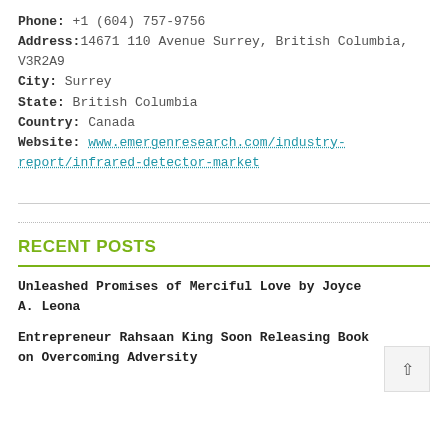Phone: +1 (604) 757-9756
Address: 14671 110 Avenue Surrey, British Columbia, V3R2A9
City: Surrey
State: British Columbia
Country: Canada
Website: www.emergenresearch.com/industry-report/infrared-detector-market
RECENT POSTS
Unleashed Promises of Merciful Love by Joyce A. Leona
Entrepreneur Rahsaan King Soon Releasing Book on Overcoming Adversity